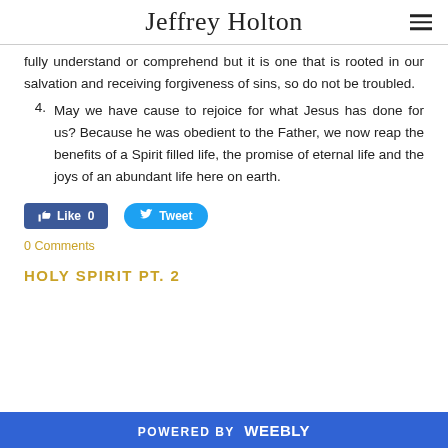Jeffrey Holton
fully understand or comprehend but it is one that is rooted in our salvation and receiving forgiveness of sins, so do not be troubled.
4. May we have cause to rejoice for what Jesus has done for us? Because he was obedient to the Father, we now reap the benefits of a Spirit filled life, the promise of eternal life and the joys of an abundant life here on earth.
[Figure (other): Facebook Like button with count 0 and Twitter Tweet button]
0 Comments
HOLY SPIRIT PT. 2
POWERED BY weebly